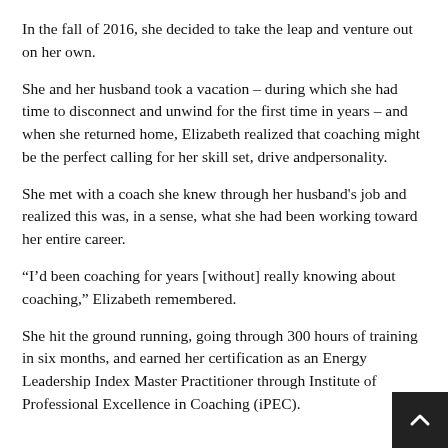In the fall of 2016, she decided to take the leap and venture out on her own.
She and her husband took a vacation – during which she had time to disconnect and unwind for the first time in years – and when she returned home, Elizabeth realized that coaching might be the perfect calling for her skill set, drive andpersonality.
She met with a coach she knew through her husband's job and realized this was, in a sense, what she had been working toward her entire career.
“I’d been coaching for years [without] really knowing about coaching,” Elizabeth remembered.
She hit the ground running, going through 300 hours of training in six months, and earned her certification as an Energy Leadership Index Master Practitioner through Institute of Professional Excellence in Coaching (iPEC).